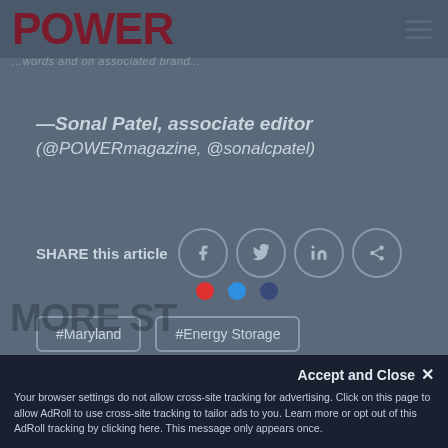POWER
—Sonal Patel, associate editor (@POWERmagazine, @sonalcpatel)
SHARE this article
[Figure (infographic): Social share icons: Facebook, Twitter, LinkedIn, and a share icon in circular outlines, with three colored dots (red, blue, navy) below]
#Maryland
#Energy Storage
Accept and Close ✕
Your browser settings do not allow cross-site tracking for advertising. Click on this page to allow AdRoll to use cross-site tracking to tailor ads to you. Learn more or opt out of this AdRoll tracking by clicking here. This message only appears once.